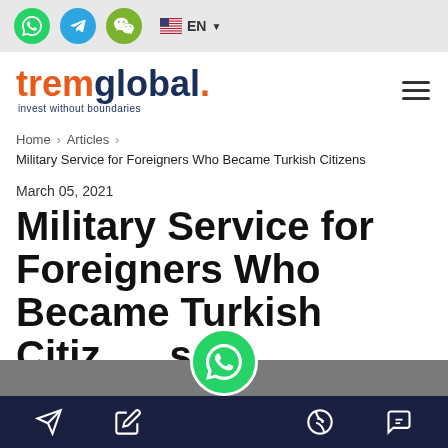Social icons (WhatsApp, Telegram, WeChat) and EN language selector
[Figure (logo): tremglobal. invest without boundaries logo with hamburger menu icon]
Home > Articles > Military Service for Foreigners Who Became Turkish Citizens
March 05, 2021
Military Service for Foreigners Who Became Turkish Citizens
Bottom navigation bar with send, edit, phone, and chat icons